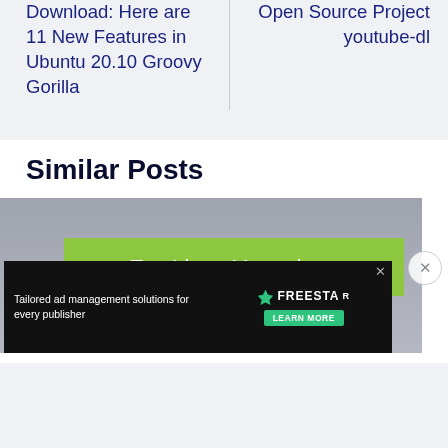Download: Here are 11 New Features in Ubuntu 20.10 Groovy Gorilla
Open Source Project youtube-dl
Similar Posts
[Figure (screenshot): Screenshot of a website card showing 'Top Linux Magazines' on a green banner over a grey background, with an advertisement overlay for Freestar ad management solutions.]